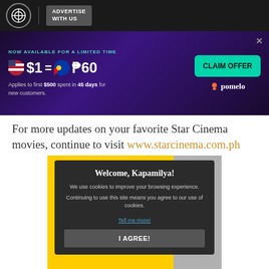Advertise With Us
[Figure (screenshot): Pomelo ad banner: NOW AVAILABLE FOR A LIMITED TIME $1 = ₱60 CLAIM OFFER. Applies to first $500 spent in 45 days for new customers. pomelo logo.]
For more updates on your favorite Star Cinema movies, continue to visit www.starcinema.com.ph
[Figure (screenshot): Cookie consent modal overlay on Western Union advertisement. Modal says: Welcome, Kapamilya! We use cookies to improve your browsing experience. Continuing to use this site means you agree to our use of cookies. Tell me more! I AGREE! Below modal shows WesternUnion\ logo on yellow background with a person in background.]